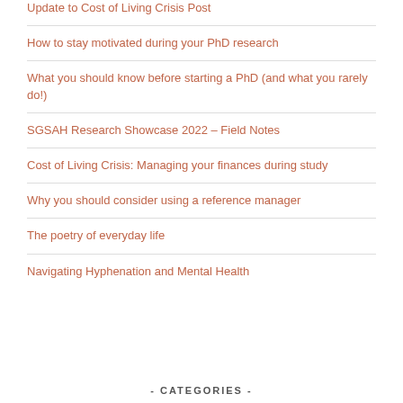Update to Cost of Living Crisis Post
How to stay motivated during your PhD research
What you should know before starting a PhD (and what you rarely do!)
SGSAH Research Showcase 2022 – Field Notes
Cost of Living Crisis: Managing your finances during study
Why you should consider using a reference manager
The poetry of everyday life
Navigating Hyphenation and Mental Health
- CATEGORIES -